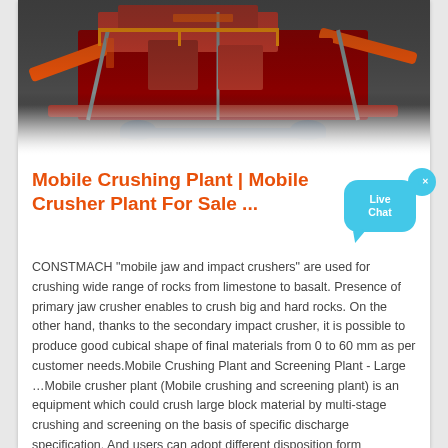[Figure (photo): Aerial/overhead view of a large industrial mobile crushing plant with red/orange metallic structure, conveyor belts, and heavy machinery components.]
Mobile Crushing Plant | Mobile Crusher Plant For Sale ...
CONSTMACH "mobile jaw and impact crushers" are used for crushing wide range of rocks from limestone to basalt. Presence of primary jaw crusher enables to crush big and hard rocks. On the other hand, thanks to the secondary impact crusher, it is possible to produce good cubical shape of final materials from 0 to 60 mm as per customer needs.Mobile Crushing Plant and Screening Plant - Large …Mobile crusher plant (Mobile crushing and screening plant) is an equipment which could crush large block material by multi-stage crushing and screening on the basis of specific discharge specification. And users can adopt different disposition form according to the variety and size of raw material and the requirement of finished material.